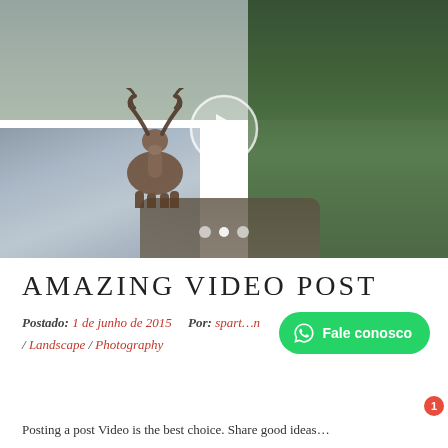[Figure (photo): A moose/reindeer standing in water near a forested riverbank. A circular play button overlay is centered on the image, indicating this is a video post thumbnail. Carousel dots appear at the bottom of the image.]
AMAZING VIDEO POST
Postado: 1 de junho de 2015    Por: spartan / Landscape / Photography
Fale conosco